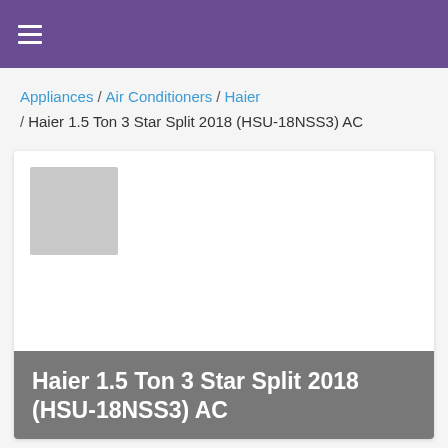≡
Appliances / Air Conditioners / Haier / Haier 1.5 Ton 3 Star Split 2018 (HSU-18NSS3) AC
[Figure (photo): Product image placeholder (gray square) for Haier 1.5 Ton 3 Star Split 2018 (HSU-18NSS3) AC]
Haier 1.5 Ton 3 Star Split 2018 (HSU-18NSS3) AC